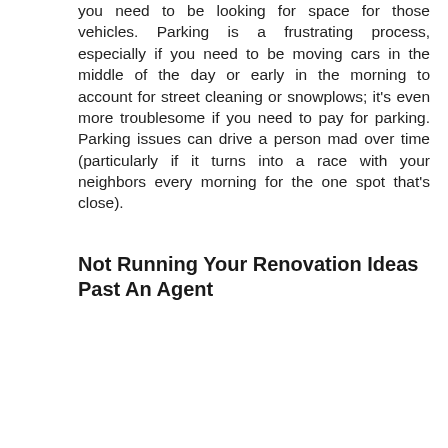you need to be looking for space for those vehicles. Parking is a frustrating process, especially if you need to be moving cars in the middle of the day or early in the morning to account for street cleaning or snowplows; it's even more troublesome if you need to pay for parking. Parking issues can drive a person mad over time (particularly if it turns into a race with your neighbors every morning for the one spot that's close).
Not Running Your Renovation Ideas Past An Agent